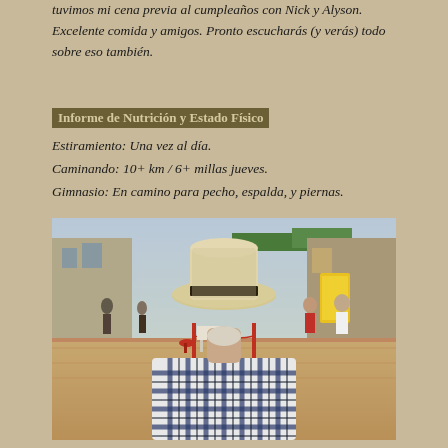tuvimos mi cena previa al cumpleaños con Nick y Alyson. Excelente comida y amigos. Pronto escucharás (y verás) todo sobre eso también.
Informe de Nutrición y Estado Físico
Estiramiento: Una vez al día.
Caminando: 10+ km / 6+ millas jueves.
Gimnasio: En camino para pecho, espalda, y piernas.
[Figure (photo): Photograph of an elderly man seen from behind, wearing a white/cream straw hat with a black band and a blue and white plaid shirt, walking along a busy pedestrian street with shops, awnings, and other people in the background.]